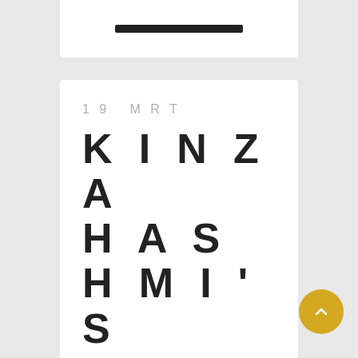[Figure (other): Top white card with a dark bar element at the top of the page]
19  MRT
KINZA HASHMI'S AWESOME YOU SHOULD POPULAR GROOVING